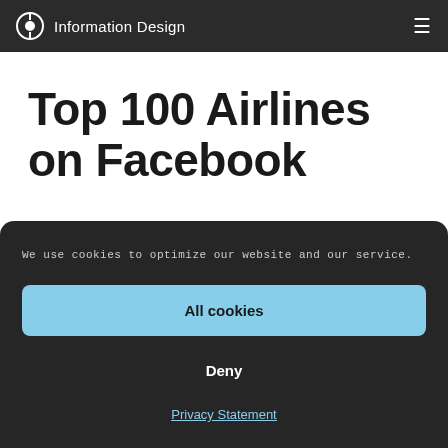Information Design
Top 100 Airlines on Facebook
We use cookies to optimize our website and our service.
All cookies
Deny
Privacy Statement